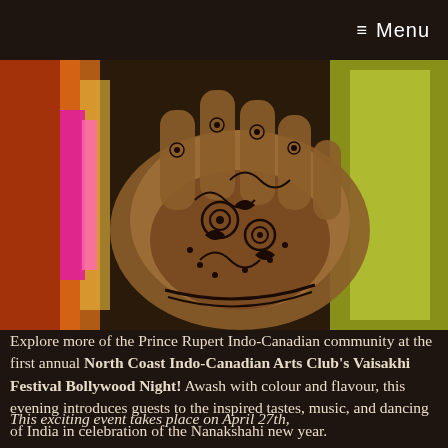≡ Menu
[Figure (photo): Close-up photo of a hand with intricate henna/mehndi tattoo patterns, with colorful fabric in the background (pink, yellow-green, and orange colors visible)]
Explore more of the Prince Rupert Indo-Canadian community at the first annual North Coast Indo-Canadian Arts Club's Vaisakhi Festival Bollywood Night! Awash with colour and flavour, this evening introduces guests to the inspired tastes, music, and dancing of India in celebration of the Nanakshahi new year.
This exciting event takes place on April 27th,